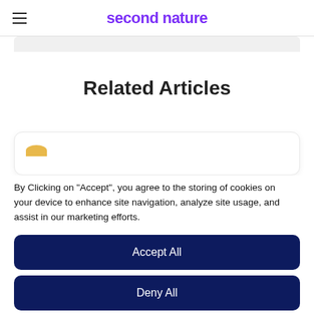second nature
Related Articles
By Clicking on "Accept", you agree to the storing of cookies on your device to enhance site navigation, analyze site usage, and assist in our marketing efforts.
Accept All
Deny All
Cookie Settings